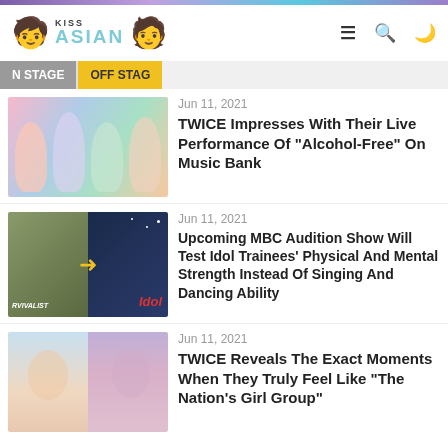KISS ASIAN
N STAGE  OFF STAGE
[Figure (photo): TWICE group photo with colorful outfits]
Jun 11, 2021
TWICE Impresses With Their Live Performance Of “Alcohol-Free” On Music Bank
[Figure (photo): Survivalist to Idol show composite image with arrow]
Jun 11, 2021
Upcoming MBC Audition Show Will Test Idol Trainees’ Physical And Mental Strength Instead Of Singing And Dancing Ability
[Figure (photo): Two female K-pop stars side by side]
Jun 11, 2021
TWICE Reveals The Exact Moments When They Truly Feel Like “The Nation’s Girl Group”